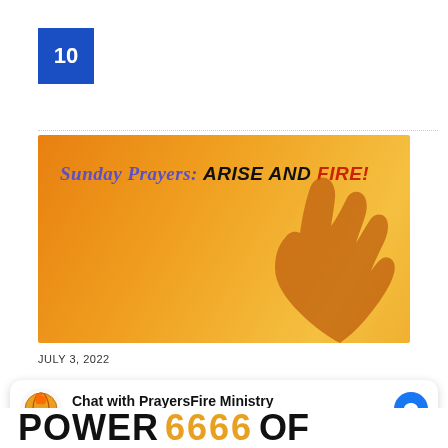10
[Figure (illustration): Orange gradient background image showing a praying hand silhouette with text 'Sunday Prayers: ARISE AND FIRE!']
JULY 3, 2022
Chat with PrayersFire Ministry
Hi! How can we help you?
POWER 🔥🔥🔥🔥 OF